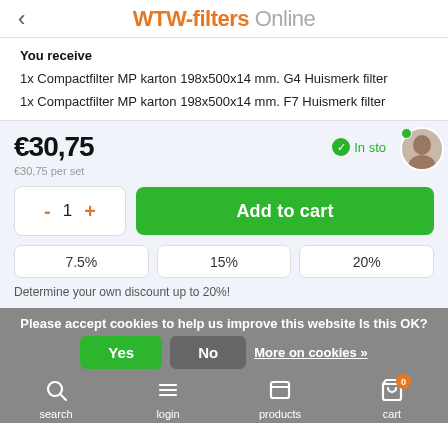WTW-filters Online
You receive
1x Compactfilter MP karton 198x500x14 mm. G4 Huismerk filter
1x Compactfilter MP karton 198x500x14 mm. F7 Huismerk filter
€30,75
€30,75 per set
In stock
Add to cart
7.5%
15%
20%
Determine your own discount up to 20%!
Please accept cookies to help us improve this website Is this OK?
Yes
No
More on cookies »
search  login  products  cart